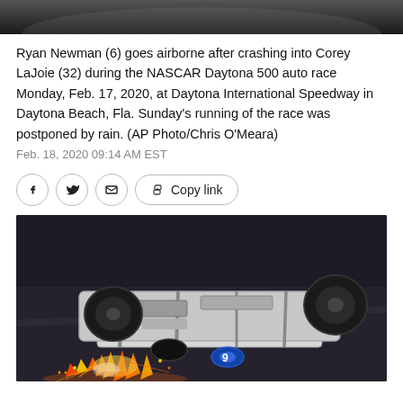[Figure (photo): Top portion of a NASCAR crash photo at Daytona 500, showing the top edge of a race car crash scene at night]
Ryan Newman (6) goes airborne after crashing into Corey LaJoie (32) during the NASCAR Daytona 500 auto race Monday, Feb. 17, 2020, at Daytona International Speedway in Daytona Beach, Fla. Sunday's running of the race was postponed by rain. (AP Photo/Chris O'Meara)
Feb. 18, 2020 09:14 AM EST
[Figure (photo): NASCAR race car overturned/flipped on track at Daytona 500, with sparks flying underneath the car, nighttime photo]